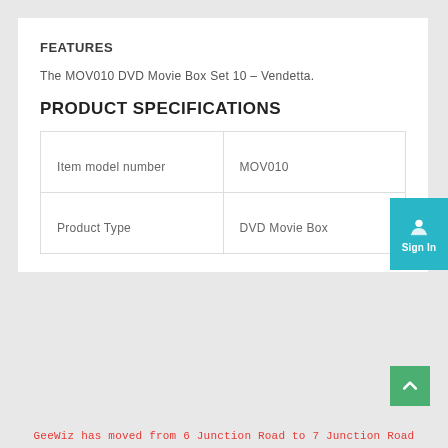FEATURES
The MOV010 DVD Movie Box Set 10 – Vendetta.
PRODUCT SPECIFICATIONS
| Item model number | MOV010 |
| Product Type | DVD Movie Box |
GeeWiz has moved from 6 Junction Road to 7 Junction Road